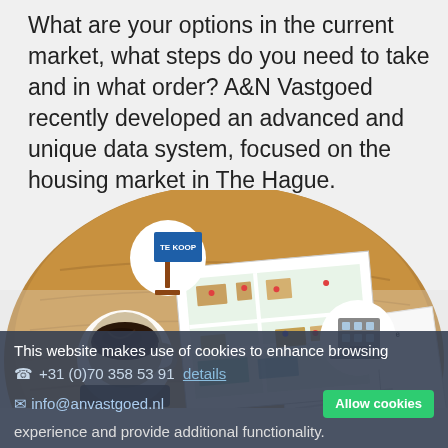What are your options in the current market, what steps do you need to take and in what order? A&N Vastgoed recently developed an advanced and unique data system, focused on the housing market in The Hague.
[Figure (photo): Circular wooden table viewed from above with a cup of coffee, a smartphone, and real estate documents including a colorful property map and valuation papers. Two circular icon overlays: one showing a 'Te Koop' (For Sale) sign, and one showing a building/apartment icon.]
This website makes use of cookies to enhance browsing experience and provide additional functionality.
☎ +31 (0)70 358 53 91 details
✉ info@anvastgoed.nl
Allow cookies